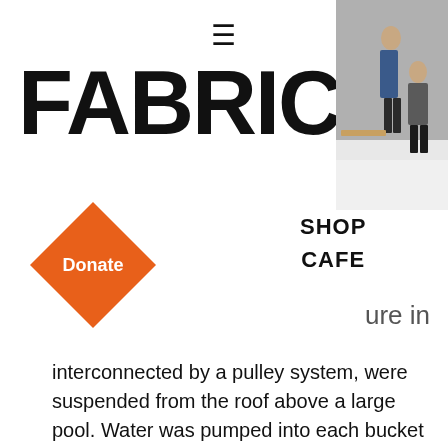≡
FABRICA
[Figure (photo): Photo of two people in an exhibition space]
[Figure (infographic): Orange diamond shape with 'Donate' label]
SHOP
CAFE
…ure in
interconnected by a pulley system, were suspended from the roof above a large pool. Water was pumped into each bucket until, at a critical point, it tipped and emptied, releasing its contents into the pool below. The flow of water – from pool to pipe, to bucket and